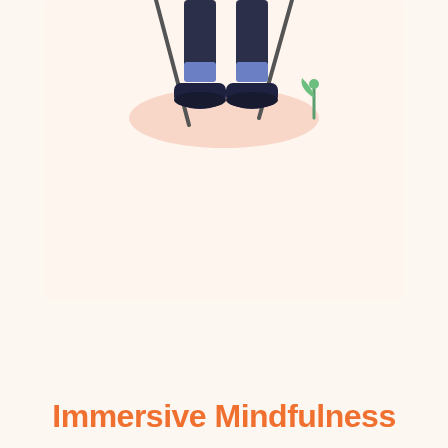[Figure (illustration): Bottom half of a person standing with walking sticks/poles, wearing dark pants, blue socks, and dark sneakers, standing on a pink/salmon oval shadow. A small green plant sprout is visible to the right. Light cream background. Shown cropped at knees-down inside a light box area.]
Immersive Mindfulness